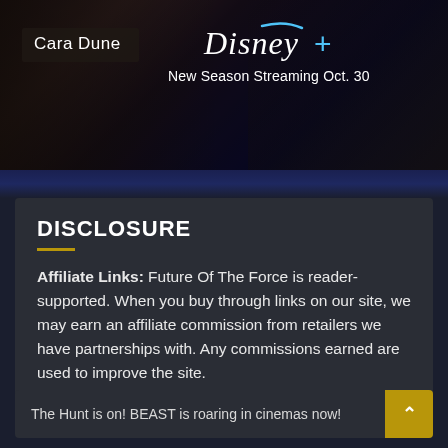[Figure (screenshot): Disney+ promotional banner showing Cara Dune character with text 'New Season Streaming Oct. 30' and Disney+ logo]
DISCLOSURE
Affiliate Links: Future Of The Force is reader-supported. When you buy through links on our site, we may earn an affiliate commission from retailers we have partnerships with. Any commissions earned are used to improve the site.
The Hunt is on! BEAST is roaring in cinemas now!